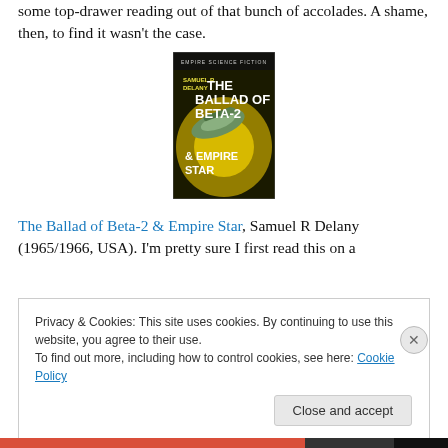some top-drawer reading out of that bunch of accolades. A shame, then, to find it wasn't the case.
[Figure (photo): Book cover of 'The Ballad of Beta-2 & Empire Star' by Samuel R. Delany, showing a science fiction illustration with a spaceship against a yellow/green background.]
The Ballad of Beta-2 & Empire Star, Samuel R Delany (1965/1966, USA). I'm pretty sure I first read this on a
Privacy & Cookies: This site uses cookies. By continuing to use this website, you agree to their use.
To find out more, including how to control cookies, see here: Cookie Policy
Close and accept